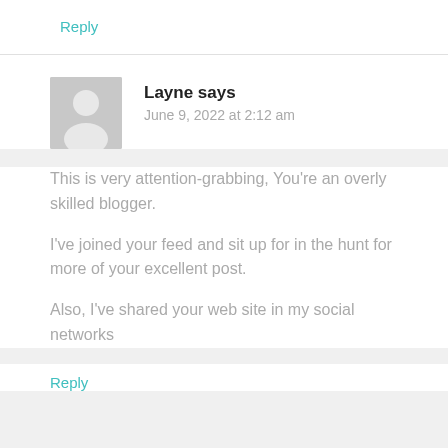Reply
Layne says
June 9, 2022 at 2:12 am
This is very attention-grabbing, You're an overly skilled blogger.
I've joined your feed and sit up for in the hunt for more of your excellent post.
Also, I've shared your web site in my social networks
Reply